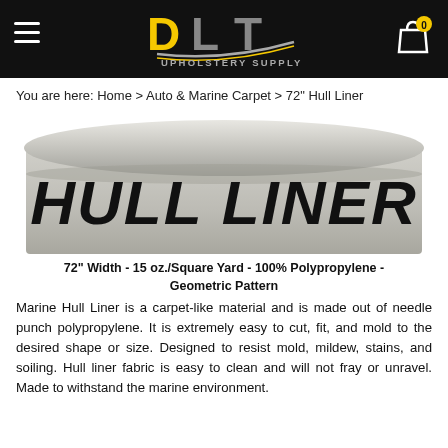DLT Upholstery Supply — navigation header with logo and cart
You are here: Home > Auto & Marine Carpet > 72" Hull Liner
[Figure (photo): A rolled bolt of gray hull liner fabric with bold black text reading HULL LINER printed on it]
72" Width - 15 oz./Square Yard - 100% Polypropylene - Geometric Pattern
Marine Hull Liner is a carpet-like material and is made out of needle punch polypropylene. It is extremely easy to cut, fit, and mold to the desired shape or size. Designed to resist mold, mildew, stains, and soiling. Hull liner fabric is easy to clean and will not fray or unravel. Made to withstand the marine environment.